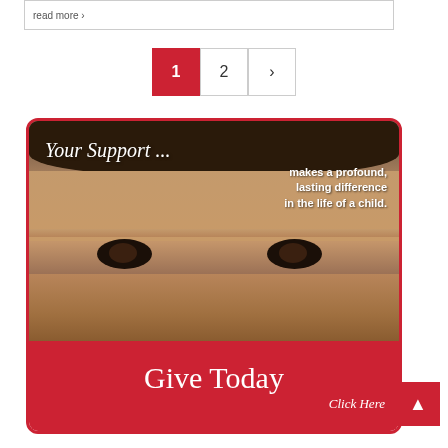read more »
1  2  ›
[Figure (illustration): Donation banner showing a child's face with text 'Your Support ... makes a profound, lasting difference in the life of a child.' and a red 'Give Today - Click Here' button at the bottom.]